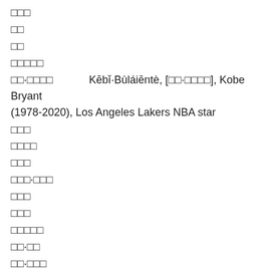□□□
□□
□□
□□□□□
□□·□□□□   Kēbǐ·Bùláiēntè, [□□·□□□□], Kobe Bryant (1978-2020), Los Angeles Lakers NBA star
□□□
□□□□
□□□
□□□·□□□
□□□
□□□
□□□□□
□□·□□
□□·□□□
□□□
□□   bǐhua, [□□], variant of □□□□□[bǐ hua]